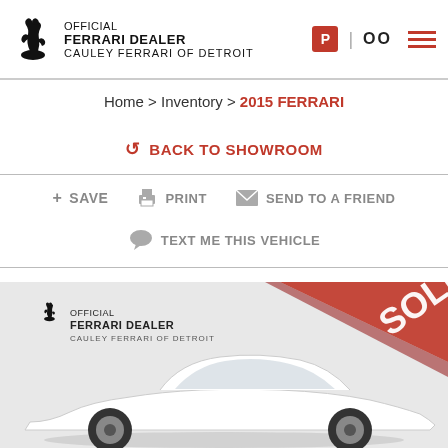OFFICIAL FERRARI DEALER CAULEY FERRARI OF DETROIT
Home > Inventory > 2015 FERRARI
↩ BACK TO SHOWROOM
+ SAVE   🖨 PRINT   ✉ SEND TO A FRIEND
💬 TEXT ME THIS VEHICLE
[Figure (photo): White Ferrari sports car with SOLD diagonal red banner overlay, shown at an angle. Dealership logo (OFFICIAL FERRARI DEALER, CAULEY FERRARI OF DETROIT) in upper left of image.]